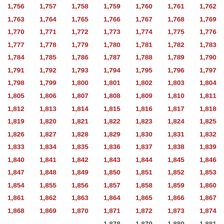| 1,756 | 1,757 | 1,758 | 1,759 | 1,760 | 1,761 | 1,762 |
| 1,763 | 1,764 | 1,765 | 1,766 | 1,767 | 1,768 | 1,769 |
| 1,770 | 1,771 | 1,772 | 1,773 | 1,774 | 1,775 | 1,776 |
| 1,777 | 1,778 | 1,779 | 1,780 | 1,781 | 1,782 | 1,783 |
| 1,784 | 1,785 | 1,786 | 1,787 | 1,788 | 1,789 | 1,790 |
| 1,791 | 1,792 | 1,793 | 1,794 | 1,795 | 1,796 | 1,797 |
| 1,798 | 1,799 | 1,800 | 1,801 | 1,802 | 1,803 | 1,804 |
| 1,805 | 1,806 | 1,807 | 1,808 | 1,809 | 1,810 | 1,811 |
| 1,812 | 1,813 | 1,814 | 1,815 | 1,816 | 1,817 | 1,818 |
| 1,819 | 1,820 | 1,821 | 1,822 | 1,823 | 1,824 | 1,825 |
| 1,826 | 1,827 | 1,828 | 1,829 | 1,830 | 1,831 | 1,832 |
| 1,833 | 1,834 | 1,835 | 1,836 | 1,837 | 1,838 | 1,839 |
| 1,840 | 1,841 | 1,842 | 1,843 | 1,844 | 1,845 | 1,846 |
| 1,847 | 1,848 | 1,849 | 1,850 | 1,851 | 1,852 | 1,853 |
| 1,854 | 1,855 | 1,856 | 1,857 | 1,858 | 1,859 | 1,860 |
| 1,861 | 1,862 | 1,863 | 1,864 | 1,865 | 1,866 | 1,867 |
| 1,868 | 1,869 | 1,870 | 1,871 | 1,872 | 1,873 | 1,874 |
| ... | ... | ... | 1,878 | 1,879 | 1,880 | 1,881 |